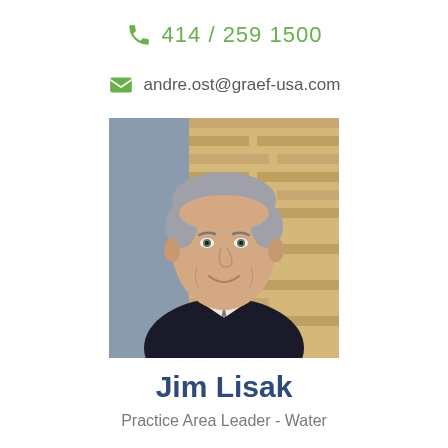414 / 259 1500
andre.ost@graef-usa.com
[Figure (photo): Professional headshot of Jim Lisak, a middle-aged man with gray hair wearing a dark suit and patterned tie, smiling, with a brick wall background]
Jim Lisak
Practice Area Leader - Water